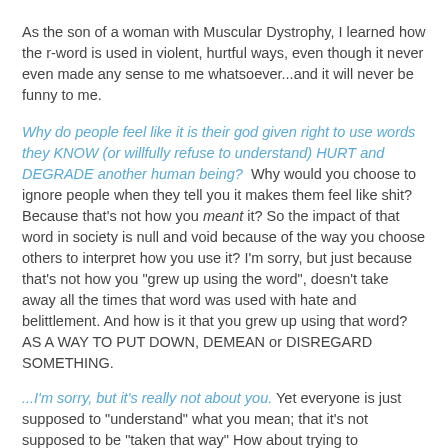As the son of a woman with Muscular Dystrophy, I learned how the r-word is used in violent, hurtful ways, even though it never even made any sense to me whatsoever...and it will never be funny to me.
Why do people feel like it is their god given right to use words they KNOW (or willfully refuse to understand) HURT and DEGRADE another human being?  Why would you choose to ignore people when they tell you it makes them feel like shit? Because that's not how you meant it? So the impact of that word in society is null and void because of the way you choose others to interpret how you use it? I'm sorry, but just because that's not how you "grew up using the word", doesn't take away all the times that word was used with hate and belittlement. And how is it that you grew up using that word? AS A WAY TO PUT DOWN, DEMEAN or DISREGARD SOMETHING.
...I'm sorry, but it's really not about you. Yet everyone is just supposed to "understand" what you mean; that it's not supposed to be "taken that way" How about trying to